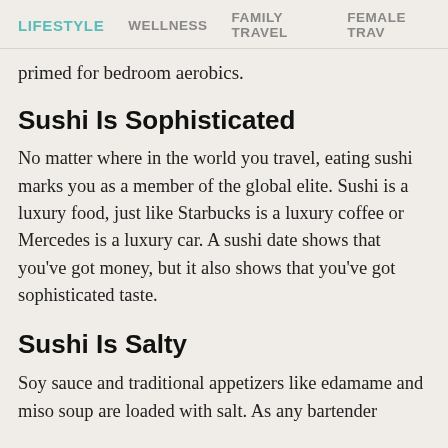LIFESTYLE   WELLNESS   FAMILY TRAVEL   FEMALE TRAV
primed for bedroom aerobics.
Sushi Is Sophisticated
No matter where in the world you travel, eating sushi marks you as a member of the global elite. Sushi is a luxury food, just like Starbucks is a luxury coffee or Mercedes is a luxury car. A sushi date shows that you’ve got money, but it also shows that you’ve got sophisticated taste.
Sushi Is Salty
Soy sauce and traditional appetizers like edamame and miso soup are loaded with salt. As any bartender